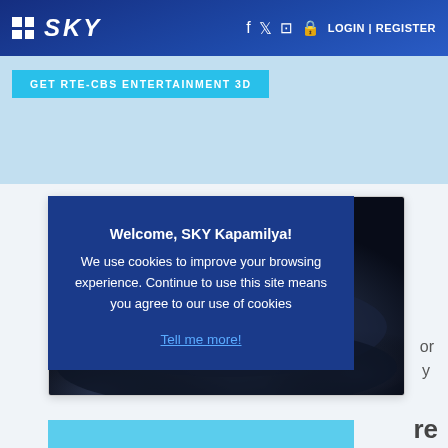SKY — LOGIN | REGISTER
GET RTE-CBS ENTERTAINMENT 3D
[Figure (screenshot): Heroes Reborn TV show title card on dark cloudy background]
Welcome, SKY Kapamilya! We use cookies to improve your browsing experience. Continue to use this site means you agree to our use of cookies
Tell me more!